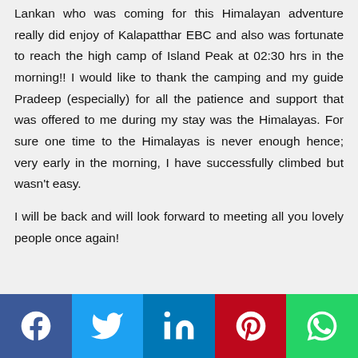Lankan who was coming for this Himalayan adventure really did enjoy of Kalapatthar EBC and also was fortunate to reach the high camp of Island Peak at 02:30 hrs in the morning!! I would like to thank the camping and my guide Pradeep (especially) for all the patience and support that was offered to me during my stay was the Himalayas. For sure one time to the Himalayas is never enough hence; very early in the morning, I have successfully climbed but wasn't easy.

I will be back and will look forward to meeting all you lovely people once again!
[Figure (infographic): Social media sharing bar with icons for Facebook, Twitter, LinkedIn, Pinterest, and WhatsApp]